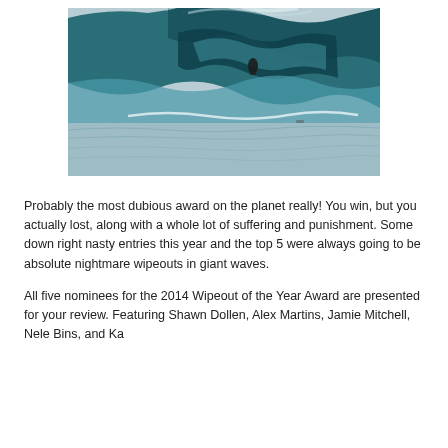[Figure (photo): A surfer riding inside a massive barreling ocean wave, photographed from a distance. The wave is enormous, dark teal-green at the top curling over, with white foam and mist. The surfer is a small figure visible inside the barrel. The ocean is rough with choppy water in the foreground.]
Probably the most dubious award on the planet really! You win, but you actually lost, along with a whole lot of suffering and punishment. Some down right nasty entries this year and the top 5 were always going to be absolute nightmare wipeouts in giant waves.
All five nominees for the 2014 Wipeout of the Year Award are presented for your review. Featuring Shawn Dollen, Alex Martins, Jamie Mitchell, Nele Bins, and Ka...